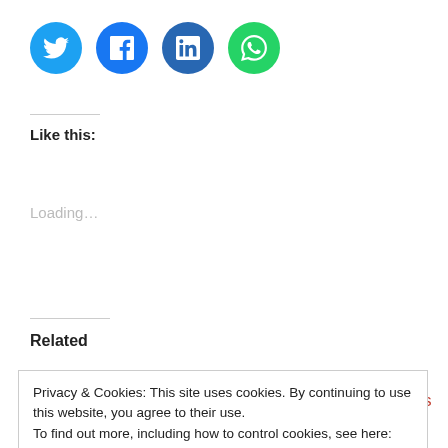[Figure (other): Social media share icons: Twitter (blue bird), Facebook (blue f), LinkedIn (blue in), WhatsApp (green phone)]
Like this:
Loading…
Related
NERC to Disband Boards
26 Industrial Consumers
Privacy & Cookies: This site uses cookies. By continuing to use this website, you agree to their use.
To find out more, including how to control cookies, see here: Cookie Policy
Raise Residential Tariffs